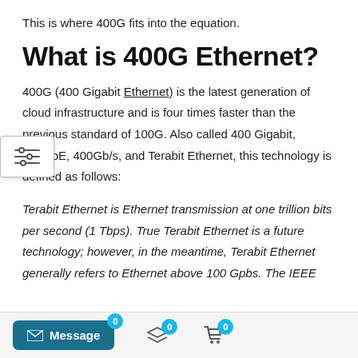This is where 400G fits into the equation.
What is 400G Ethernet?
400G (400 Gigabit Ethernet) is the latest generation of cloud infrastructure and is four times faster than the previous standard of 100G. Also called 400 Gigabit, 400GbE, 400Gb/s, and Terabit Ethernet, this technology is defined as follows:
Terabit Ethernet is Ethernet transmission at one trillion bits per second (1 Tbps). True Terabit Ethernet is a future technology; however, in the meantime, Terabit Ethernet generally refers to Ethernet above 100 Gpbs. The IEEE
[Figure (other): Small popup/tooltip icon showing horizontal sliders/adjustments symbol]
Message 0  [layers icon] 0  [cart icon] 0